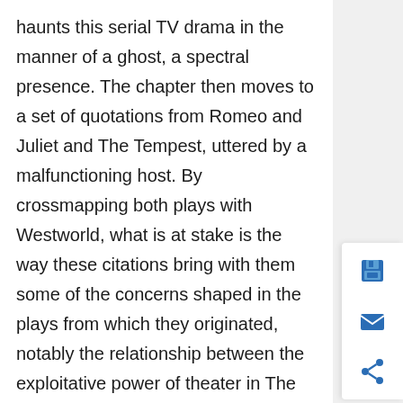haunts this serial TV drama in the manner of a ghost, a spectral presence. The chapter then moves to a set of quotations from Romeo and Juliet and The Tempest, uttered by a malfunctioning host. By crossmapping both plays with Westworld, what is at stake is the way these citations bring with them some of the concerns shaped in the plays from which they originated, notably the relationship between the exploitative power of theater in The Tempest and th
… Show More
Type: Chapter
in Serial Shakespeare
[Figure (photo): Thumbnail image with dark blue/teal gradient, likely a still from a TV show or film]